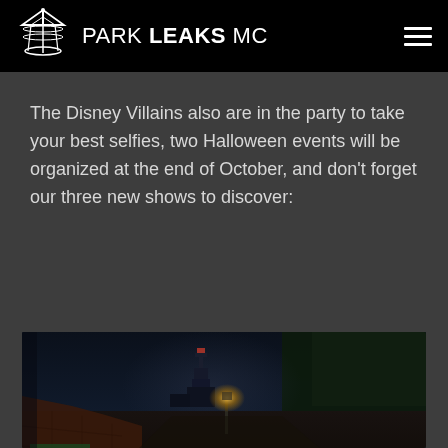PARK LEAKS MC
The Disney Villains also are in the party to take your best selfies, two Halloween events will be organized at the end of October, and don't forget our three new shows to discover:
[Figure (photo): Dark nighttime scene showing a dimly lit outdoor area with trees on the right, what appears to be a castle or tower structure in the misty background center-left, a lamp post glowing in the middle distance, brick structures on the lower left, and dark ground in the foreground.]